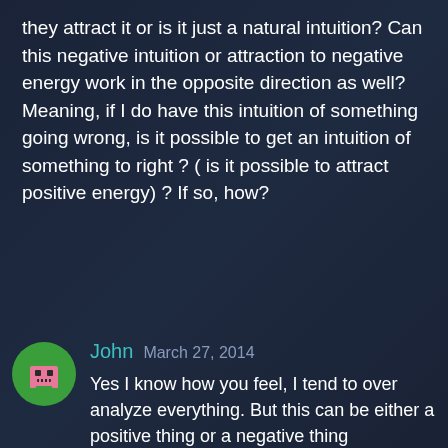they attract it or is it just a natural intuition? Can this negative intuition or attraction to negative energy work in the opposite direction as well? Meaning, if I do have this intuition of something going wrong, is it possible to get an intuition of something to right ? ( is it possible to attract positive energy) ? If so, how?
Reply
John  March 27, 2014
Yes I know how you feel, I tend to over analyze everything. But this can be either a positive thing or a negative thing depending on how you frame it; If I see my mind as a wild chicken